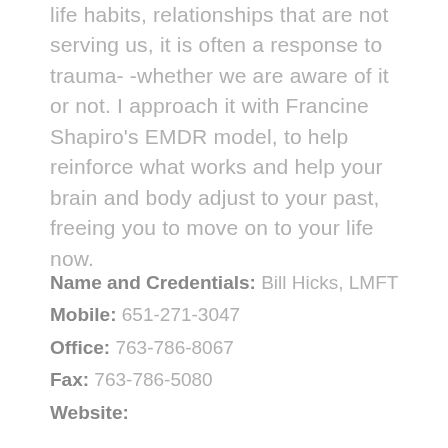life habits, relationships that are not serving us, it is often a response to trauma- -whether we are aware of it or not. I approach it with Francine Shapiro's EMDR model, to help reinforce what works and help your brain and body adjust to your past, freeing you to move on to your life now.
Name and Credentials: Bill Hicks, LMFT
Mobile: 651-271-3047
Office: 763-786-8067
Fax: 763-786-5080
Website: